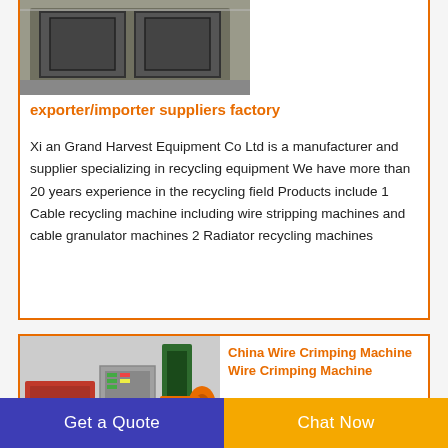[Figure (photo): Industrial machinery/equipment in a warehouse or factory setting, appears to be recycling or processing equipment with black metal frames]
exporter/importer suppliers factory
Xi an Grand Harvest Equipment Co Ltd is a manufacturer and supplier specializing in recycling equipment We have more than 20 years experience in the recycling field Products include 1 Cable recycling machine including wire stripping machines and cable granulator machines 2 Radiator recycling machines
[Figure (photo): Wire crimping machine equipment — industrial machinery with red, grey and orange components, control panels, and green cable spool]
China Wire Crimping Machine Wire Crimping Machine
Get a Quote
Chat Now